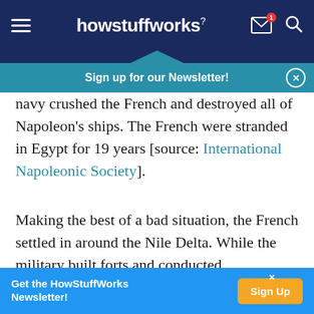howstuffworks
Sign up for our Newsletter!
navy crushed the French and destroyed all of Napoleon's ships. The French were stranded in Egypt for 19 years [source: International Napoleonic Society].
Making the best of a bad situation, the French settled in around the Nile Delta. While the military built forts and conducted reconnaissance, the Institute collected artifacts, explored ruins and became acquainted with the local population. The
Get the HowStuffWorks Newsletter!